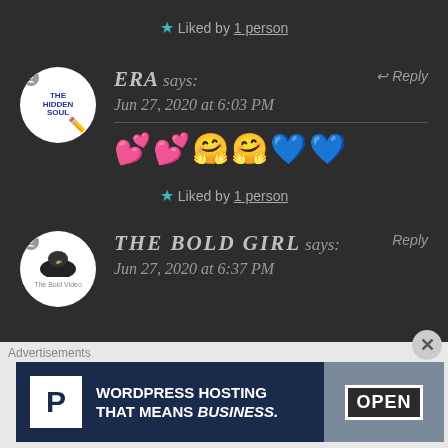★ Liked by 1 person
ERA says: Jun 27, 2020 at 6:03 PM — Reply
💕💕🤗🤗💙💙
★ Liked by 1 person
THE BOLD GIRL says: Jun 27, 2020 at 6:37 PM — Reply
Advertisements
[Figure (screenshot): WordPress hosting advertisement banner reading 'WORDPRESS HOSTING THAT MEANS BUSINESS.' with a P logo and an OPEN sign image]